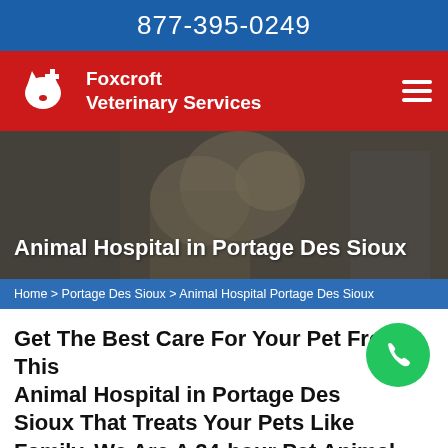877-395-0249
[Figure (logo): Foxcroft Veterinary Services logo — red background with white dog/cat head icon and plus sign, white text 'Foxcroft Veterinary Services', hamburger menu icon on right]
[Figure (photo): Hero image of a woman in a white lab coat hugging a golden retriever dog, darkened overlay, at an animal hospital]
Animal Hospital in Portage Des Sioux
Home > Portage Des Sioux > Animal Hospital Portage Des Sioux
Get The Best Care For Your Pet From This Animal Hospital in Portage Des Sioux That Treats Your Pets Like Family. We Are A 24-hour Pet Animal